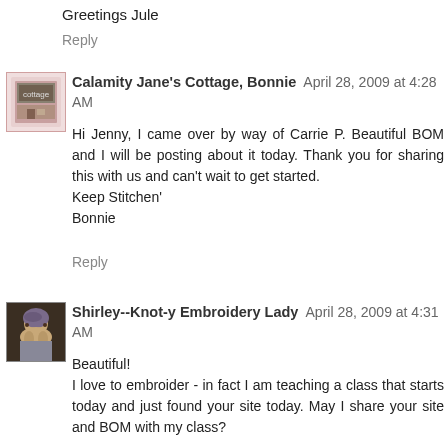Greetings Jule
Reply
Calamity Jane's Cottage, Bonnie  April 28, 2009 at 4:28 AM
Hi Jenny, I came over by way of Carrie P. Beautiful BOM and I will be posting about it today. Thank you for sharing this with us and can't wait to get started.
Keep Stitchen'
Bonnie
Reply
Shirley--Knot-y Embroidery Lady  April 28, 2009 at 4:31 AM
Beautiful!
I love to embroider - in fact I am teaching a class that starts today and just found your site today. May I share your site and BOM with my class?